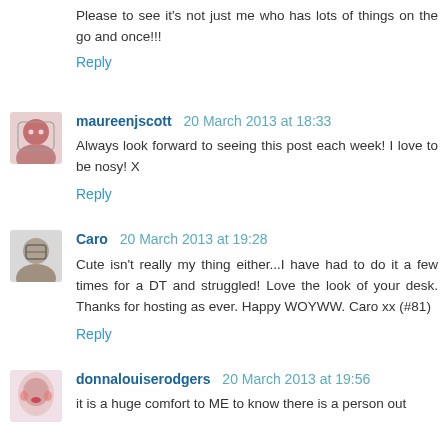Please to see it's not just me who has lots of things on the go and once!!!
Reply
[Figure (photo): Avatar photo of maureenjscott, a woman with glasses]
maureenjscott 20 March 2013 at 18:33
Always look forward to seeing this post each week! I love to be nosy! X
Reply
[Figure (photo): Avatar photo of Caro, a woman with glasses]
Caro 20 March 2013 at 19:28
Cute isn't really my thing either...I have had to do it a few times for a DT and struggled! Love the look of your desk. Thanks for hosting as ever. Happy WOYWW. Caro xx (#81)
Reply
[Figure (photo): Avatar photo of donnalouiserodgers, a woman with red face paint]
donnalouiserodgers 20 March 2013 at 19:56
it is a huge comfort to ME to know there is a person out